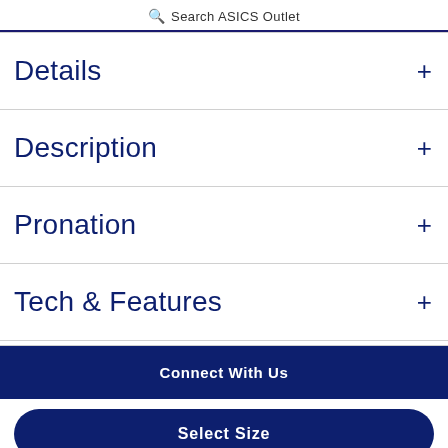Search ASICS Outlet
Details +
Description +
Pronation +
Tech & Features +
Connect With Us
Select Size